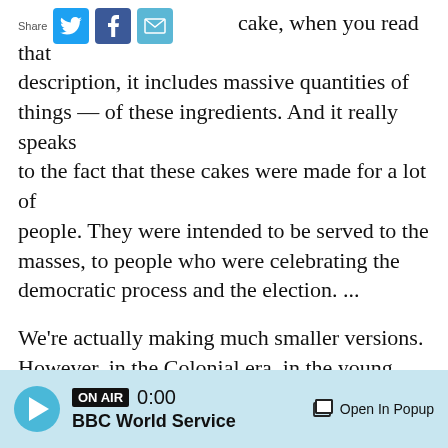[Figure (other): Share bar with Twitter, Facebook, and email social buttons]
cake, when you read that description, it includes massive quantities of things — of these ingredients. And it really speaks to the fact that these cakes were made for a lot of people. They were intended to be served to the masses, to people who were celebrating the democratic process and the election. ...
We're actually making much smaller versions. However, in the Colonial era, in the young republic, there were community bread ovens — wood-fired ovens. These cakes would likely have been baked ... in loaf format. ...
The act of making this cake would have required — not only would women have largely been
[Figure (other): BBC audio player bar showing ON AIR badge, time 0:00, BBC World Service label, and Open In Popup button]